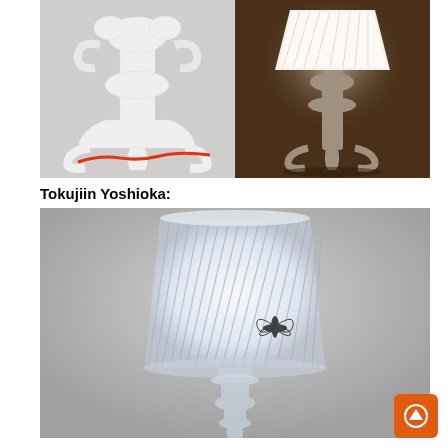[Figure (photo): Two side-by-side photos of a baroque-style lamp. Left photo shows a white ornate lamp base with a red cord on a light gray background. Right photo shows the same lamp illuminated with a white pleated shade on a dark brown background.]
Tokujiin Yoshioka:
[Figure (photo): Large photo of a transparent/crystal clear lamp with a ribbed cylindrical lampshade, glowing with white light. A decorative dragonfly motif is visible on the shade. The base is a clear acrylic baroque-style form. Background is gray.]